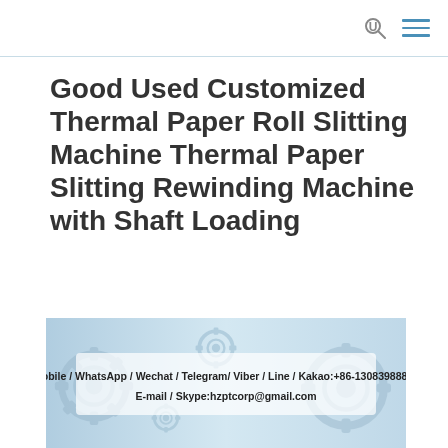[search icon] [menu icon]
Good Used Customized Thermal Paper Roll Slitting Machine Thermal Paper Slitting Rewinding Machine with Shaft Loading
[Figure (photo): Product promotional banner with gear/mechanical background showing contact information: Mobile / WhatsApp / Wechat / Telegram/ Viber / Line / Kakao:+86-13083988828, E-mail / Skype:hzptcorp@gmail.com]